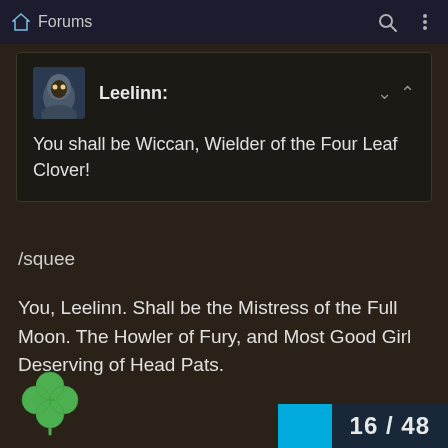Forums
Leelinn:
You shall be Wiccan, Wielder of the Four Leaf Clover!
/squee
You, Leelinn. Shall be the Mistress of the Full Moon. The Howler of Fury, and Most Good Girl Deserving of Head Pats.
[Figure (illustration): Green four-leaf clover emoji/icon]
16 / 48